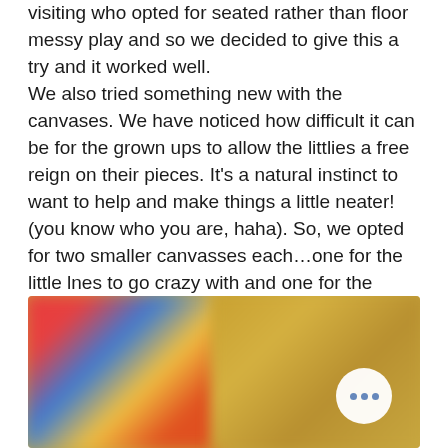visiting who opted for seated rather than floor messy play and so we decided to give this a try and it worked well. We also tried something new with the canvases. We have noticed how difficult it can be for the grown ups to allow the littlies a free reign on their pieces. It's a natural instinct to want to help and make things a little neater! (you know who you are, haha). So, we opted for two smaller canvasses each...one for the little lnes to go crazy with and one for the grown ups to get involved with, attempting some handprints perhaps or similar. It worked really well!
[Figure (photo): Blurred photo of two canvas paintings with colorful paint on a golden/yellow background. A white circular button with three blue dots (ellipsis menu) is overlaid in the bottom-right area.]